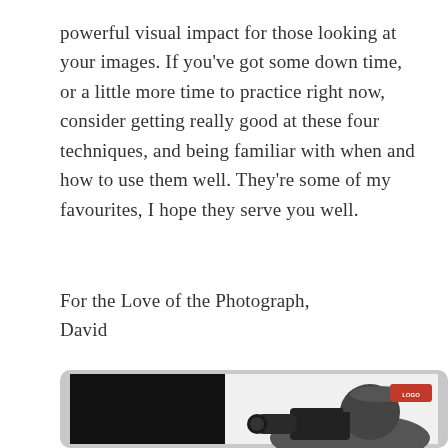powerful visual impact for those looking at your images. If you've got some down time, or a little more time to practice right now, consider getting really good at these four techniques, and being familiar with when and how to use them well. They're some of my favourites, I hope they serve you well.
For the Love of the Photograph,
David
[Figure (photo): A tablet/iPad device showing a photographer holding a camera with a telephoto lens. A red logo/label is visible in the upper right area of the tablet screen. The tablet has a dark bezel and silver frame.]